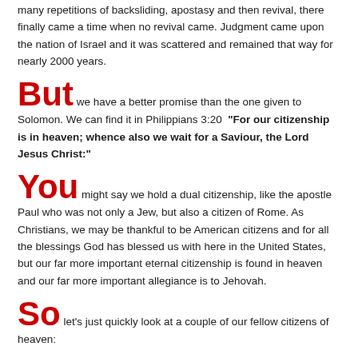many repetitions of backsliding, apostasy and then revival, there finally came a time when no revival came. Judgment came upon the nation of Israel and it was scattered and remained that way for nearly 2000 years.
But we have a better promise than the one given to Solomon. We can find it in Philippians 3:20  "For our citizenship is in heaven; whence also we wait for a Saviour, the Lord Jesus Christ:"
You might say we hold a dual citizenship, like the apostle Paul who was not only a Jew, but also a citizen of Rome. As Christians, we may be thankful to be American citizens and for all the blessings God has blessed us with here in the United States, but our far more important eternal citizenship is found in heaven and our far more important allegiance is to Jehovah.
So let's just quickly look at a couple of our fellow citizens of heaven:
"By faith Abraham, when he was called to go out into a place which he should after receive for an inheritance, obeyed; and he went out,